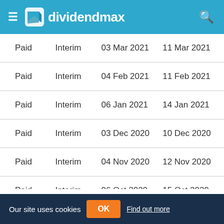dividendmax
| Paid | Interim | 03 Mar 2021 | 11 Mar 2021 |
| Paid | Interim | 04 Feb 2021 | 11 Feb 2021 |
| Paid | Interim | 06 Jan 2021 | 14 Jan 2021 |
| Paid | Interim | 03 Dec 2020 | 10 Dec 2020 |
| Paid | Interim | 04 Nov 2020 | 12 Nov 2020 |
| Paid | Interim | 06 Oct 2020 | 15 Oct 2020 |
| Paid | Interim | 02 Sep 2020 | 10 Sep 2020 |
Our site uses cookies  OK  Find out more